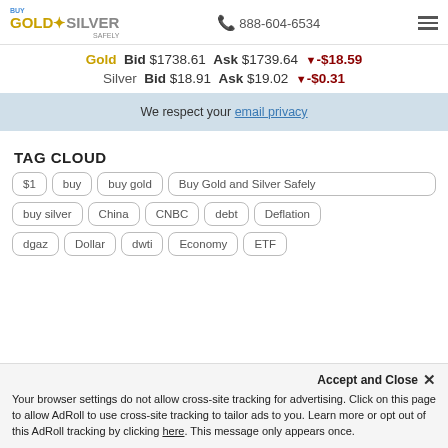Buy Gold & Silver Safely | 888-604-6534
Gold Bid $1738.61 Ask $1739.64 ▼-$18.59
Silver Bid $18.91 Ask $19.02 ▼-$0.31
We respect your email privacy
TAG CLOUD
$1
buy
buy gold
Buy Gold and Silver Safely
buy silver
China
CNBC
debt
Deflation
dgaz
Dollar
dwti
Economy
ETF
Accept and Close ✕ Your browser settings do not allow cross-site tracking for advertising. Click on this page to allow AdRoll to use cross-site tracking to tailor ads to you. Learn more or opt out of this AdRoll tracking by clicking here. This message only appears once.